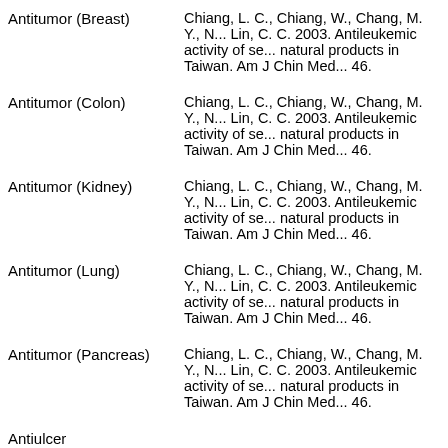| Activity | Reference |
| --- | --- |
| Antitumor (Breast) | Chiang, L. C., Chiang, W., Chang, M. Y., N... Lin, C. C. 2003. Antileukemic activity of se... natural products in Taiwan. Am J Chin Med... 46. |
| Antitumor (Colon) | Chiang, L. C., Chiang, W., Chang, M. Y., N... Lin, C. C. 2003. Antileukemic activity of se... natural products in Taiwan. Am J Chin Med... 46. |
| Antitumor (Kidney) | Chiang, L. C., Chiang, W., Chang, M. Y., N... Lin, C. C. 2003. Antileukemic activity of se... natural products in Taiwan. Am J Chin Med... 46. |
| Antitumor (Lung) | Chiang, L. C., Chiang, W., Chang, M. Y., N... Lin, C. C. 2003. Antileukemic activity of se... natural products in Taiwan. Am J Chin Med... 46. |
| Antitumor (Pancreas) | Chiang, L. C., Chiang, W., Chang, M. Y., N... Lin, C. C. 2003. Antileukemic activity of se... natural products in Taiwan. Am J Chin Med... 46. |
| Antiulcer >carbenoxolone |  |
| Antiviral EC50=1.7 | Kashiwada, Y., et. al. 1998. Anti-AIDS Age... Anti-HIV Activity of Oleanolic Acid, Pomo... |